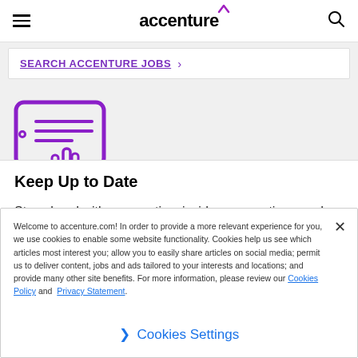accenture
SEARCH ACCENTURE JOBS ›
[Figure (illustration): Purple outline icon of a tablet with text lines and a pointing hand cursor]
Keep Up to Date
Stay ahead with careers tips, insider perspectives, and industry-leading insights you can put to use today–all
Welcome to accenture.com! In order to provide a more relevant experience for you, we use cookies to enable some website functionality. Cookies help us see which articles most interest you; allow you to easily share articles on social media; permit us to deliver content, jobs and ads tailored to your interests and locations; and provide many other site benefits. For more information, please review our Cookies Policy and Privacy Statement.
❯ Cookies Settings